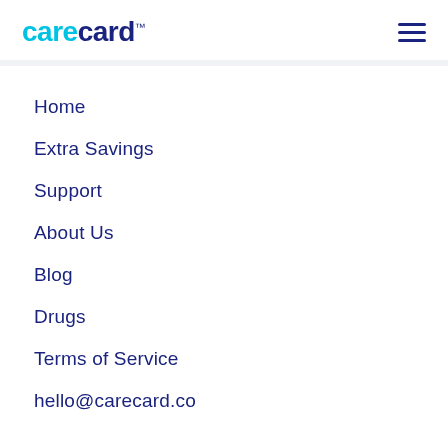carecard™
Home
Extra Savings
Support
About Us
Blog
Drugs
Terms of Service
hello@carecard.co